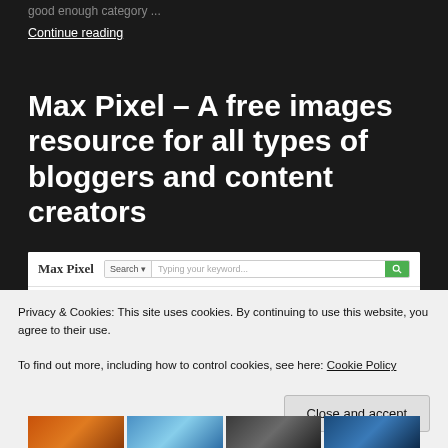good enough category ...
Continue reading
Max Pixel – A free images resource for all types of bloggers and content creators
[Figure (screenshot): Screenshot of Max Pixel website showing logo, search bar with 'Typing your keyword...' placeholder and green search button, and filter bar with Latest, Category, Orientation, Size, Color, Clear filters options]
Privacy & Cookies: This site uses cookies. By continuing to use this website, you agree to their use.
To find out more, including how to control cookies, see here: Cookie Policy
Close and accept